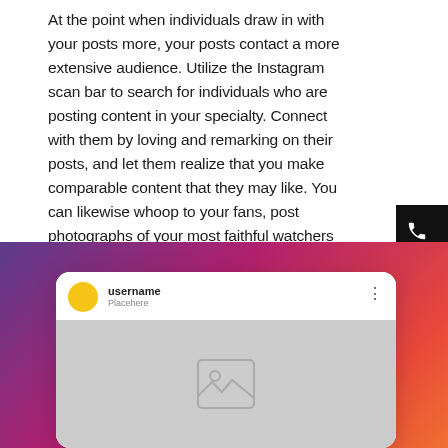At the point when individuals draw in with your posts more, your posts contact a more extensive audience. Utilize the Instagram scan bar to search for individuals who are posting content in your specialty. Connect with them by loving and remarking on their posts, and let them realize that you make comparable content that they may like. You can likewise whoop to your fans, post photographs of your most faithful watchers and label them, answer back to all remarks on your posts, arbitrarily choose followers from your profile and drop remarks on their photographs.
[Figure (illustration): Instagram post mockup UI card showing a username with yellow avatar, 'username' text, 'Placehere' subtitle, three-dot menu, and a grey image placeholder area with a photo icon, all on a purple-to-orange gradient background. Sidebar has three black buttons with phone, chat bubble, and envelope icons.]